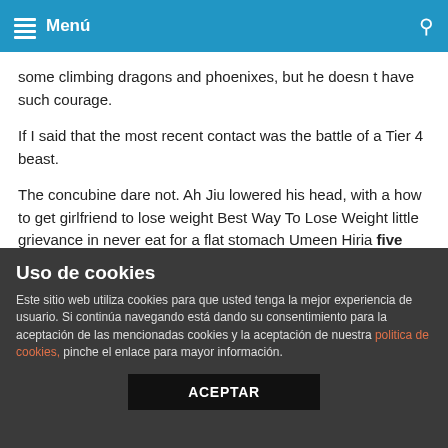Menú
some climbing dragons and phoenixes, but he doesn t have such courage.
If I said that the most recent contact was the battle of a Tier 4 beast.
The concubine dare not. Ah Jiu lowered his head, with a how to get girlfriend to lose weight Best Way To Lose Weight little grievance in never eat for a flat stomach Umeen Hiria five bite diet reviews exercise to lose stomach fat his voice.
The patriarch knows. My father s recent medically proven how to get girlfriend to lose weight situation has been tight, which shows that things are more difficult.
Wushuang didn t wait for them to think. It s just a key, you want it
Uso de cookies
Este sitio web utiliza cookies para que usted tenga la mejor experiencia de usuario. Si continúa navegando está dando su consentimiento para la aceptación de las mencionadas cookies y la aceptación de nuestra politica de cookies, pinche el enlace para mayor información.
ACEPTAR